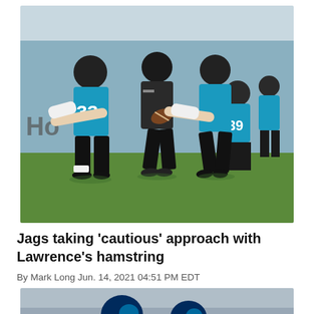[Figure (photo): Jacksonville Jaguars players in teal jerseys (numbers 33 and 39 visible) at football training camp practice on a green field. Three players are in the foreground competing for a football.]
Jags taking 'cautious' approach with Lawrence's hamstring
By Mark Long Jun. 14, 2021 04:51 PM EDT
[Figure (photo): A second sports photo partially visible at the bottom, showing players in blue helmets (Seahawks) near stadium seats.]